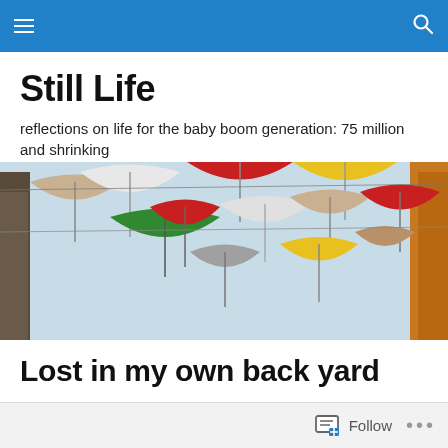Still Life — navigation bar with hamburger menu and search icon
Still Life
reflections on life for the baby boom generation: 75 million and shrinking
[Figure (photo): Colorful umbrellas hanging overhead between buildings — red, yellow, green, beige, white, grey umbrellas suspended on wires against a bright sky viewed from below.]
Lost in my own back yard
Follow   •••